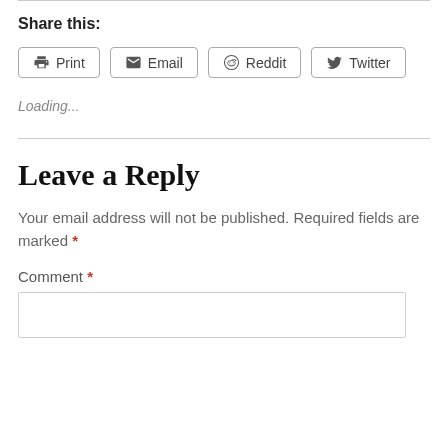Share this:
Print
Email
Reddit
Twitter
Loading...
Leave a Reply
Your email address will not be published. Required fields are marked *
Comment *